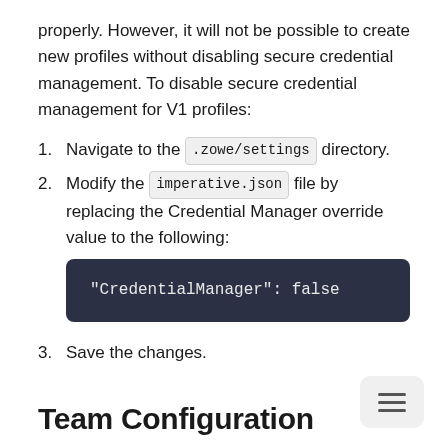properly. However, it will not be possible to create new profiles without disabling secure credential management. To disable secure credential management for V1 profiles:
Navigate to the .zowe/settings directory.
Modify the imperative.json file by replacing the Credential Manager override value to the following:
"CredentialManager": false
Save the changes.
Team Configuration